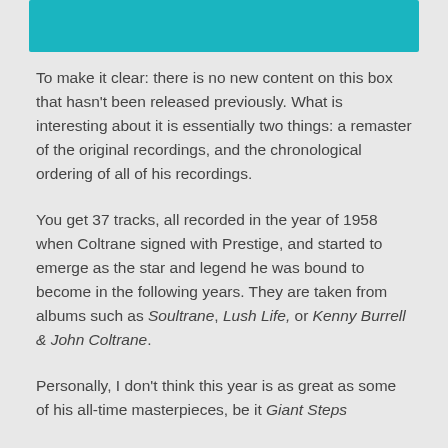[Figure (other): Teal/turquoise decorative horizontal bar at the top of the page]
To make it clear: there is no new content on this box that hasn't been released previously. What is interesting about it is essentially two things: a remaster of the original recordings, and the chronological ordering of all of his recordings.
You get 37 tracks, all recorded in the year of 1958 when Coltrane signed with Prestige, and started to emerge as the star and legend he was bound to become in the following years. They are taken from albums such as Soultrane, Lush Life, or Kenny Burrell & John Coltrane.
Personally, I don't think this year is as great as some of his all-time masterpieces, be it Giant Steps